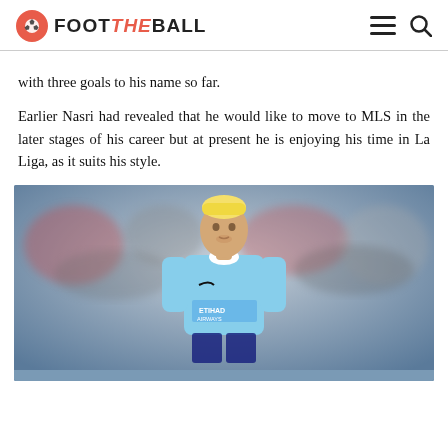FOOTBALL
with three goals to his name so far.
Earlier Nasri had revealed that he would like to move to MLS in the later stages of his career but at present he is enjoying his time in La Liga, as it suits his style.
[Figure (photo): Samir Nasri in a light blue Manchester City jersey running on pitch, with blurred crowd in background.]